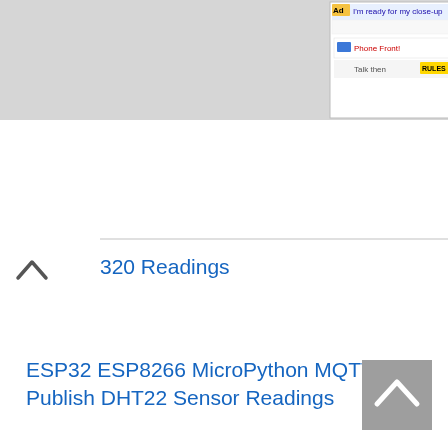[Figure (screenshot): Advertisement banner at top of webpage showing a BitLife game ad with red background and logo, and an 'Ad' label badge. Partial screenshot of browser interface visible.]
320 Readings
ESP32 ESP8266 MicroPython MQTT Publish DHT22 Sensor Readings
[Figure (other): Scroll-to-top button, grey square with upward arrow chevron, in bottom right corner]